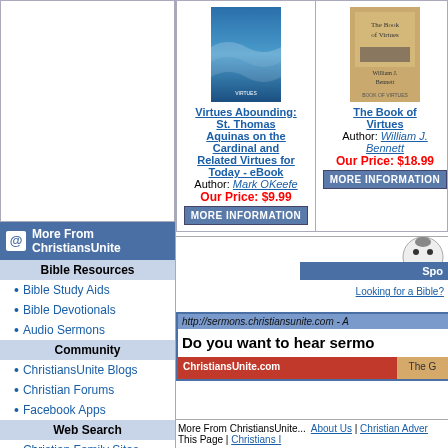[Figure (illustration): Book cover: Virtues Abounding - ocean waves blue cover]
Virtues Abounding: St. Thomas Aquinas on the Cardinal and Related Virtues for Today - eBook
Author: Mark OKeefe
Our Price: $9.99
[Figure (illustration): Book cover: The Book of Virtues - tan/beige cover]
The Book of Virtues
Author: William J. Bennett
Our Price: $18.99
[Figure (illustration): Partially visible third book cover]
More From ChristiansUnite
Bible Resources
Bible Study Aids
Bible Devotionals
Audio Sermons
Community
ChristiansUnite Blogs
Christian Forums
Facebook Apps
Web Search
Christian Family Sites
Top Christian Sites
Christian RSS Feeds
Family Life
Christian Finance
ChristiansUnite KIDS
Spo
Looking for a Bible?
http://sermons.christiansunite.com - A
Do you want to hear sermo
ChristiansUnite.com    The G
More From ChristiansUnite...   About Us | Christian Adver This Page | Christians I